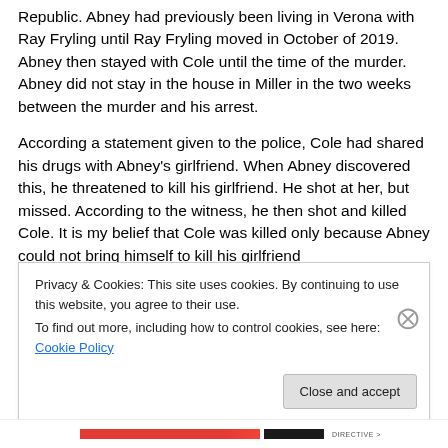Republic. Abney had previously been living in Verona with Ray Fryling until Ray Fryling moved in October of 2019. Abney then stayed with Cole until the time of the murder. Abney did not stay in the house in Miller in the two weeks between the murder and his arrest.
According a statement given to the police, Cole had shared his drugs with Abney's girlfriend. When Abney discovered this, he threatened to kill his girlfriend. He shot at her, but missed. According to the witness, he then shot and killed Cole. It is my belief that Cole was killed only because Abney could not bring himself to kill his girlfriend
Privacy & Cookies: This site uses cookies. By continuing to use this website, you agree to their use.
To find out more, including how to control cookies, see here: Cookie Policy